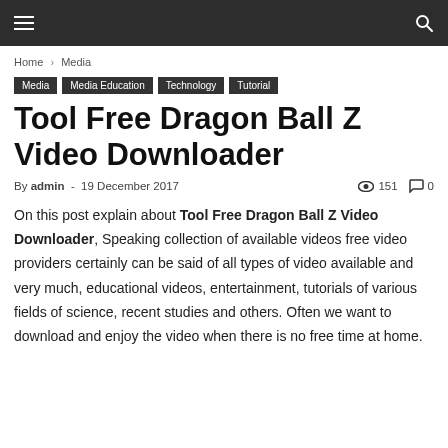≡  🔍
Home › Media
Media   Media Education   Technology   Tutorial
Tool Free Dragon Ball Z Video Downloader
By admin - 19 December 2017   👁 151   💬 0
On this post explain about Tool Free Dragon Ball Z Video Downloader, Speaking collection of available videos free video providers certainly can be said of all types of video available and very much, educational videos, entertainment, tutorials of various fields of science, recent studies and others. Often we want to download and enjoy the video when there is no free time at home.